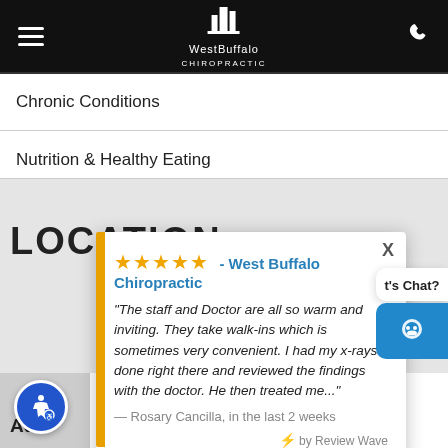WestBuffalo Chiropractic - navigation header
Chronic Conditions
Nutrition & Healthy Eating
LOCATION
★★★★★ - West Buffalo Chiropractic
"The staff and Doctor are all so warm and inviting. They take walk-ins which is sometimes very convenient. I had my x-rays done right there and reviewed the findings with the doctor. He then treated me..."
— Rosary Cancilla, in the last 2 weeks
⚡ by Review Wave